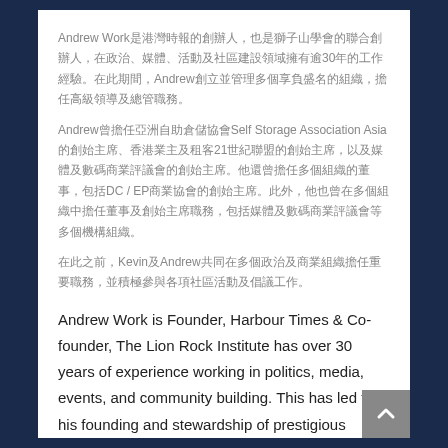Andrew Work是港灣時報的創辦人，也是獅子山學會的聯合創辦人，在政治、媒體、活動及社區建設領域擁有逾30年的工作經驗。在此期間，Andrew創立並管理多個享負盛名的組織，擔任高級領導及總管職務。
Andrew曾擔任亞洲自助倉儲協會Self Storage Association Asia的創始主席、香港業主及租客21世紀聯盟的創始主席，以及媒體及數碼商業評議會的創始主席。他還曾擔任多個組織的董事，包括DC / EP商業協會的創始主席。此外，他也曾在多個組織中擔任董事及創始主席職務，包括媒體及數碼商業評議會等多個機構組織。
在此之前，Kevin及Andrew共同在多個政治及商業組織擔任重要職務，並積極參與各項社區活動及倡議工作。
Andrew Work is Founder, Harbour Times & Co-founder, The Lion Rock Institute has over 30 years of experience working in politics, media, events, and community building. This has led to his founding and stewardship of prestigious organisations through senior leadership and general management roles over